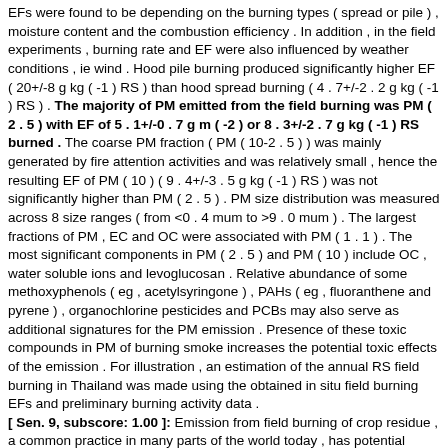EFs were found to be depending on the burning types ( spread or pile ) , moisture content and the combustion efficiency . In addition , in the field experiments , burning rate and EF were also influenced by weather conditions , ie wind . Hood pile burning produced significantly higher EF ( 20+/-8 g kg ( -1 ) RS ) than hood spread burning ( 4 . 7+/-2 . 2 g kg ( -1 ) RS ) . The majority of PM emitted from the field burning was PM ( 2 . 5 ) with EF of 5 . 1+/-0 . 7 g m ( -2 ) or 8 . 3+/-2 . 7 g kg ( -1 ) RS burned . The coarse PM fraction ( PM ( 10-2 . 5 ) ) was mainly generated by fire attention activities and was relatively small , hence the resulting EF of PM ( 10 ) ( 9 . 4+/-3 . 5 g kg ( -1 ) RS ) was not significantly higher than PM ( 2 . 5 ) . PM size distribution was measured across 8 size ranges ( from <0 . 4 mum to >9 . 0 mum ) . The largest fractions of PM , EC and OC were associated with PM ( 1 . 1 ) . The most significant components in PM ( 2 . 5 ) and PM ( 10 ) include OC , water soluble ions and levoglucosan . Relative abundance of some methoxyphenols ( eg , acetylsyringone ) , PAHs ( eg , fluoranthene and pyrene ) , organochlorine pesticides and PCBs may also serve as additional signatures for the PM emission . Presence of these toxic compounds in PM of burning smoke increases the potential toxic effects of the emission . For illustration , an estimation of the annual RS field burning in Thailand was made using the obtained in situ field burning EFs and preliminary burning activity data . [ Sen. 9, subscore: 1.00 ]: Emission from field burning of crop residue , a common practice in many parts of the world today , has potential effects on air quality , atmosphere and climate . This study provides a comprehensive size and compositional characterization of particulate matter ( PM ) emission from rice straw ( RS ) burning using both in situ experiments ( 11 spread field burning ) and laboratory hood experiments ( 3 pile and 6 spread burning ) that were conducted during 2003-2006 in Thailand . The carbon balance and emission ratio method was used to determine PM emission factors ( EFs ) in the field experiments . The